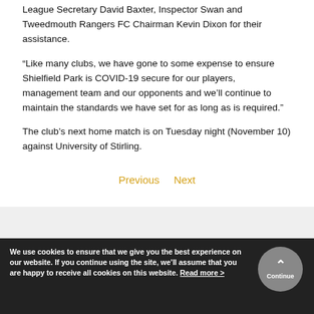League Secretary David Baxter, Inspector Swan and Tweedmouth Rangers FC Chairman Kevin Dixon for their assistance.
“Like many clubs, we have gone to some expense to ensure Shielfield Park is COVID-19 secure for our players, management team and our opponents and we’ll continue to maintain the standards we have set for as long as is required.”
The club’s next home match is on Tuesday night (November 10) against University of Stirling.
Previous   Next
We use cookies to ensure that we give you the best experience on our website. If you continue using the site, we’ll assume that you are happy to receive all cookies on this website. Read more >